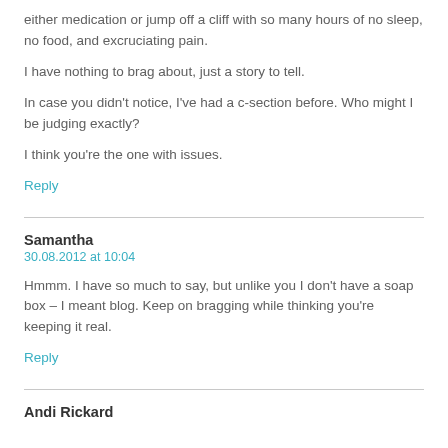either medication or jump off a cliff with so many hours of no sleep, no food, and excruciating pain.
I have nothing to brag about, just a story to tell.
In case you didn't notice, I've had a c-section before. Who might I be judging exactly?
I think you're the one with issues.
Reply
Samantha
30.08.2012 at 10:04
Hmmm. I have so much to say, but unlike you I don't have a soap box – I meant blog. Keep on bragging while thinking you're keeping it real.
Reply
Andi Rickard